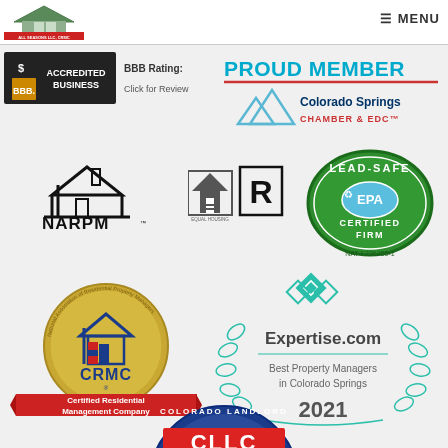[Figure (logo): All Seasons LLC CRMC company logo - house illustration]
☰ MENU
[Figure (logo): BBB Accredited Business badge with BBB Rating: Click for Review]
[Figure (logo): PROUD MEMBER - Colorado Springs Chamber & EDC logo]
[Figure (logo): NARPM logo with house and property management mark]
[Figure (logo): Equal Housing Opportunity and Realtor logos]
[Figure (logo): EPA Lead-Safe Certified Firm badge NAT-F236205-1]
[Figure (logo): CRMC Certified Residential Management Company seal]
[Figure (logo): Expertise.com Best Property Managers in Colorado Springs 2021]
[Figure (logo): Colorado Landlord CLLC badge (partially visible)]